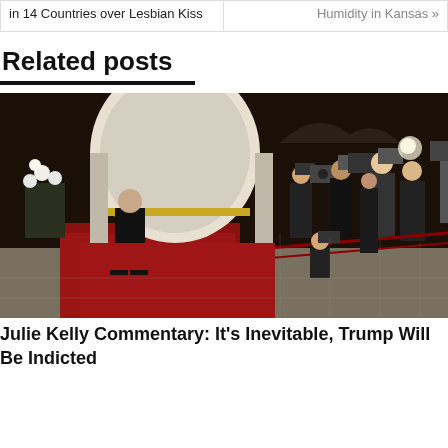in 14 Countries over Lesbian Kiss
Humidity in Kansas »
Related posts
[Figure (photo): A man in a dark suit stands on a red carpet in an ornate hall facing a crowd of photographers with cameras and equipment behind a rope barrier.]
Julie Kelly Commentary: It's Inevitable, Trump Will Be Indicted